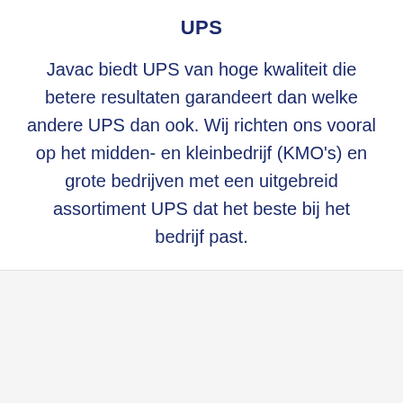UPS
Javac biedt UPS van hoge kwaliteit die betere resultaten garandeert dan welke andere UPS dan ook. Wij richten ons vooral op het midden- en kleinbedrijf (KMO's) en grote bedrijven met een uitgebreid assortiment UPS dat het beste bij het bedrijf past.